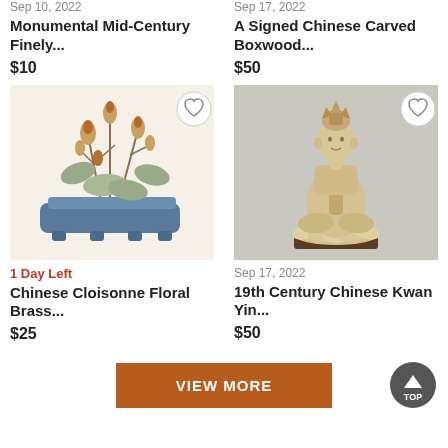Sep 10, 2022
Monumental Mid-Century Finely...
$10
Sep 17, 2022
A Signed Chinese Carved Boxwood...
$50
[Figure (photo): Chinese Cloisonne Floral Brass arrangement with gold and bronze flowers on blue base]
[Figure (photo): 19th Century Chinese Kwan Yin carved ivory/bone seated figure in prayer pose on lotus base]
1 Day Left
Chinese Cloisonne Floral Brass...
$25
Sep 17, 2022
19th Century Chinese Kwan Yin...
$50
VIEW MORE